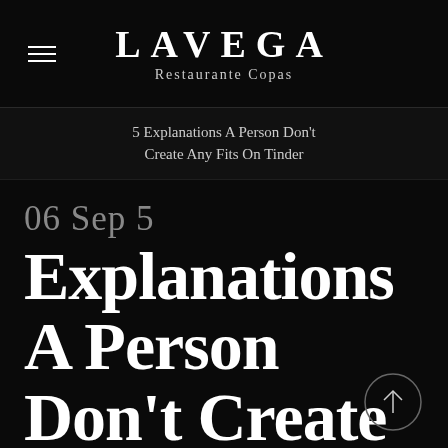LAVEGA Restaurante Copas
5 Explanations A Person Don't Create Any Fits On Tinder
06 Sep 5
5 Explanations A Person Don't Create